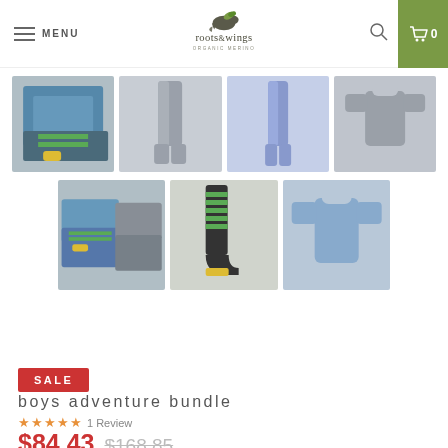MENU | roots&wings ORGANIC MERINO | search | cart 0
[Figure (photo): Product thumbnail images: bundled merino clothing items (shirts, leggings, socks) in blue, grey, and green stripes for boys adventure bundle]
SALE
boys adventure bundle
★★★★★ 1 Review
$84.43  $168.85